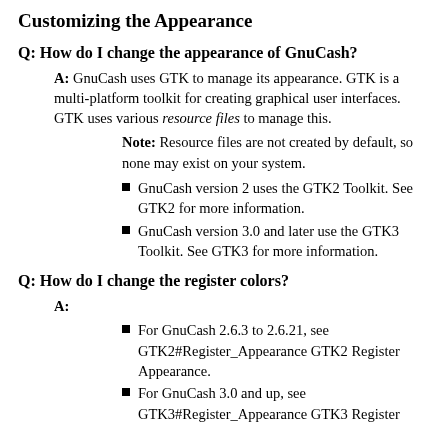Customizing the Appearance
Q: How do I change the appearance of GnuCash?
A: GnuCash uses GTK to manage its appearance. GTK is a multi-platform toolkit for creating graphical user interfaces. GTK uses various resource files to manage this.
Note: Resource files are not created by default, so none may exist on your system.
GnuCash version 2 uses the GTK2 Toolkit. See GTK2 for more information.
GnuCash version 3.0 and later use the GTK3 Toolkit. See GTK3 for more information.
Q: How do I change the register colors?
A:
For GnuCash 2.6.3 to 2.6.21, see GTK2#Register_Appearance GTK2 Register Appearance.
For GnuCash 3.0 and up, see GTK3#Register_Appearance GTK3 Register